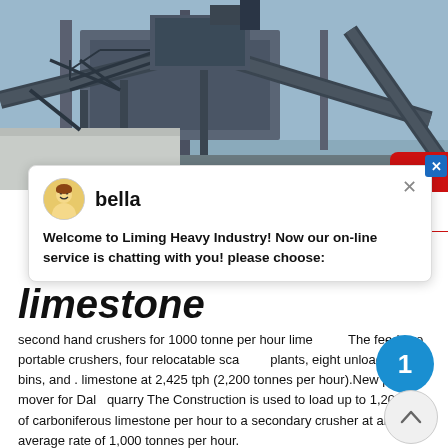[Figure (photo): Industrial limestone crusher / heavy mining machinery with conveyor belts and metal framework structures against a blue sky]
[Figure (screenshot): Live chat widget overlay from Liming Heavy Industry website. Avatar of 'bella' with message: Welcome to Liming Heavy Industry! Now our on-line service is chatting with you! please choose:]
limestone
second hand crushers for 1000 tonne per hour limestone. The feed two portable crushers, four relocatable scalping plants, eight unloading bins, and . limestone at 2,425 tph (2,200 tonnes per hour).New primary mover for Dale quarry The Construction is used to load up to 1,200 ... of carboniferous limestone per hour to a secondary crusher at an average rate of 1,000 tonnes per hour.